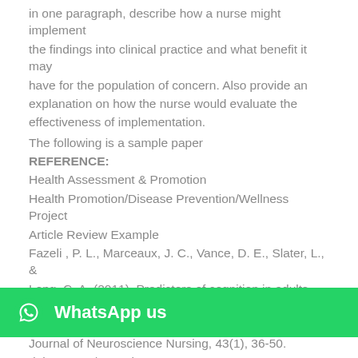in one paragraph, describe how a nurse might implement the findings into clinical practice and what benefit it may have for the population of concern. Also provide an explanation on how the nurse would evaluate the effectiveness of implementation.
The following is a sample paper
REFERENCE:
Health Assessment & Promotion
Health Promotion/Disease Prevention/Wellness Project
Article Review Example
Fazeli , P. L., Marceaux, J. C., Vance, D. E., Slater, L., & Long, C. A. (2011). Predictors of cognition in adults with HIV: Implications for nursing practice and research. Journal of Neuroscience Nursing, 43(1), 36-50. doi:10.1097/JNN.0b013e3182029790
TYPE OF ARTICLE:
Primary/Secondary Research Study
PURPOSE:
People with HIV are living longer due to advances in antiretroviral treatment. However, due to the effects of HIV
[Figure (other): WhatsApp us button overlay at bottom of page]